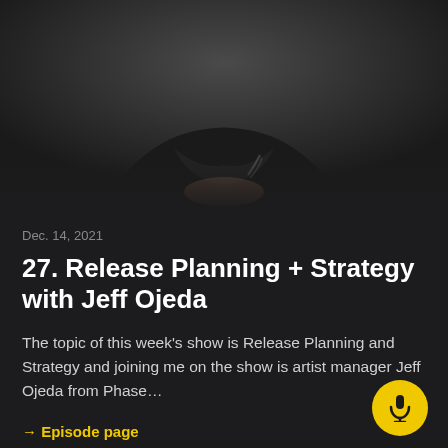[Figure (photo): Close-up photo of a man wearing a black hoodie with a neck tattoo, cropped from chin down to chest area, dark background]
Dec. 14, 2021
27. Release Planning + Strategy with Jeff Ojeda
The topic of this week's show is Release Planning and Strategy and joining me on the show is artist manager Jeff Ojeda from Phase…
→ Episode page